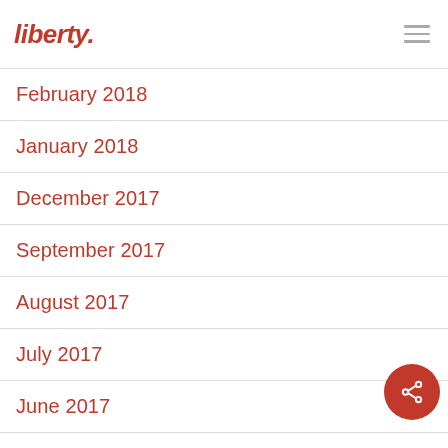liberty.
February 2018
January 2018
December 2017
September 2017
August 2017
July 2017
June 2017
May 2017
April 2017